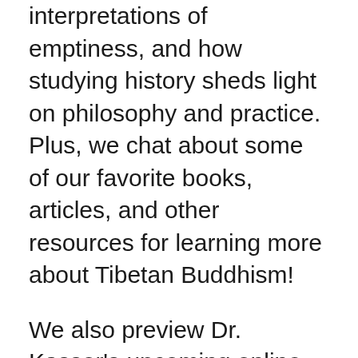interpretations of emptiness, and how studying history sheds light on philosophy and practice. Plus, we chat about some of our favorite books, articles, and other resources for learning more about Tibetan Buddhism!
We also preview Dr. Kassor's upcoming online course, 104 | Tibetan Buddhism, which will cover the history, schools, philosophy, and practices of Tibetan Buddhism. The course is meant to give an overview of various important aspects of Tibetan history and culture that give students frameworks of understanding that can support future study and practice.